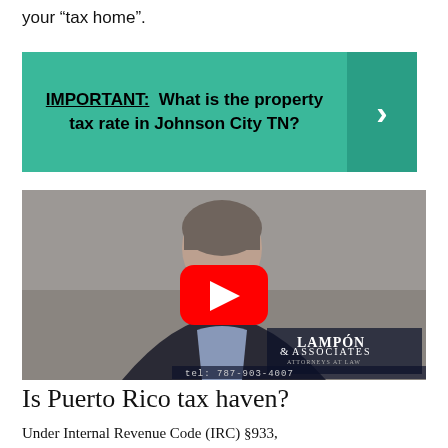your “tax home”.
[Figure (infographic): Green banner with bold text: IMPORTANT: What is the property tax rate in Johnson City TN? with a dark green arrow button on the right.]
[Figure (screenshot): YouTube video thumbnail showing a man in a suit with a YouTube play button overlay. Lampon & Associates logo and tel: 787-903-4007 visible in lower right.]
Is Puerto Rico tax haven?
Under Internal Revenue Code (IRC) §933,